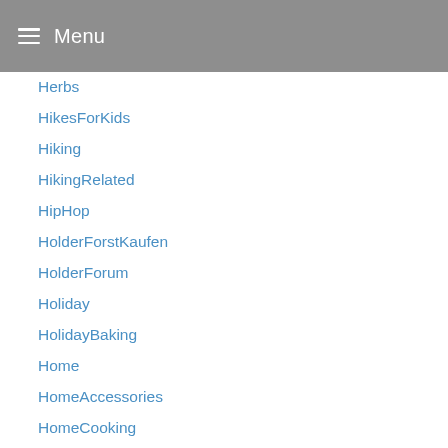Menu
Herbs
HikesForKids
Hiking
HikingRelated
HipHop
HolderForstKaufen
HolderForum
Holiday
HolidayBaking
Home
HomeAccessories
HomeCooking
HomeD
HomeDecor
HomeDepotSaunaTubes
HomeDesign
HomeditOriginals